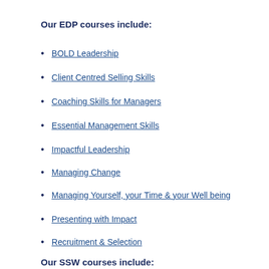Our EDP courses include:
BOLD Leadership
Client Centred Selling Skills
Coaching Skills for Managers
Essential Management Skills
Impactful Leadership
Managing Change
Managing Yourself, your Time & your Well being
Presenting with Impact
Recruitment & Selection
Our SSW courses include: